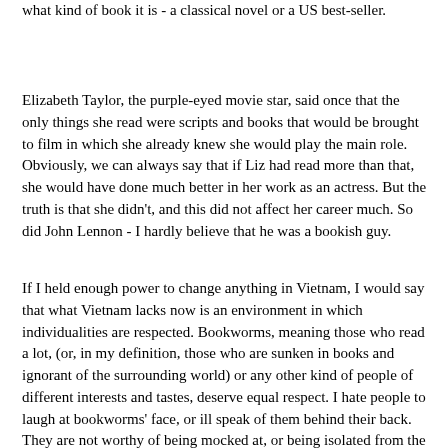what kind of book it is - a classical novel or a US best-seller.
Elizabeth Taylor, the purple-eyed movie star, said once that the only things she read were scripts and books that would be brought to film in which she already knew she would play the main role. Obviously, we can always say that if Liz had read more than that, she would have done much better in her work as an actress. But the truth is that she didn't, and this did not affect her career much. So did John Lennon - I hardly believe that he was a bookish guy.
If I held enough power to change anything in Vietnam, I would say that what Vietnam lacks now is an environment in which individualities are respected. Bookworms, meaning those who read a lot, (or, in my definition, those who are sunken in books and ignorant of the surrounding world) or any other kind of people of different interests and tastes, deserve equal respect. I hate people to laugh at bookworms' face, or ill speak of them behind their back. They are not worthy of being mocked at, or being isolated from the rest as if they were aliens